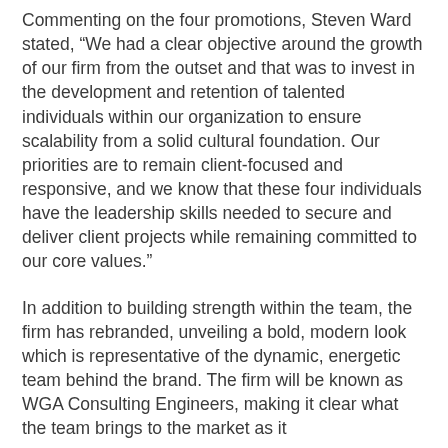Commenting on the four promotions, Steven Ward stated, “We had a clear objective around the growth of our firm from the outset and that was to invest in the development and retention of talented individuals within our organization to ensure scalability from a solid cultural foundation. Our priorities are to remain client-focused and responsive, and we know that these four individuals have the leadership skills needed to secure and deliver client projects while remaining committed to our core values.”
In addition to building strength within the team, the firm has rebranded, unveiling a bold, modern look which is representative of the dynamic, energetic team behind the brand. The firm will be known as WGA Consulting Engineers, making it clear what the team brings to the market as it